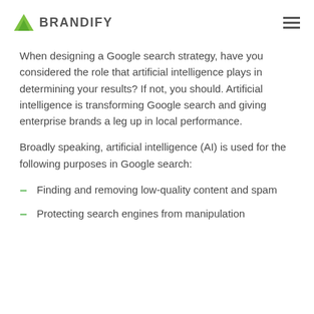BRANDIFY
When designing a Google search strategy, have you considered the role that artificial intelligence plays in determining your results? If not, you should. Artificial intelligence is transforming Google search and giving enterprise brands a leg up in local performance.
Broadly speaking, artificial intelligence (AI) is used for the following purposes in Google search:
Finding and removing low-quality content and spam
Protecting search engines from manipulation